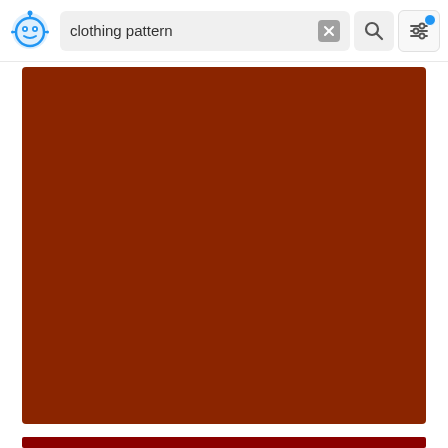clothing pattern
[Figure (screenshot): A reddish-brown solid color image block, appearing as a search result thumbnail for 'clothing pattern']
[Figure (screenshot): A dark red solid color image block, partially visible at the bottom, another search result thumbnail]